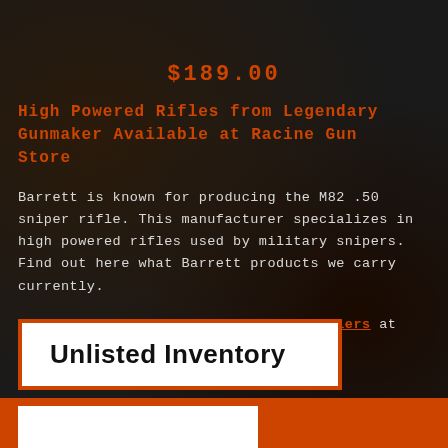$189.00
High Powered Rifles from Legendary Gunmaker Available at Racine Gun Store
Barrett is known for producing the M82 .50 sniper rifle. This manufacturer specializes in high powered rifles used by military snipers. Find out here what Barrett products we carry currently.
Contact the Wisconsin Barrett gun dealers at Shooters Sports Center today.
[Figure (other): Button/CTA labeled 'Unlisted Inventory' with white background and orange border]
[Figure (other): Orange strip at bottom of page with white rectangle inside]